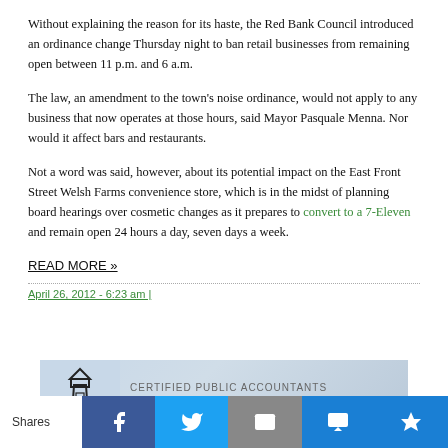Without explaining the reason for its haste, the Red Bank Council introduced an ordinance change Thursday night to ban retail businesses from remaining open between 11 p.m. and 6 a.m.
The law, an amendment to the town's noise ordinance, would not apply to any business that now operates at those hours, said Mayor Pasquale Menna. Nor would it affect bars and restaurants.
Not a word was said, however, about its potential impact on the East Front Street Welsh Farms convenience store, which is in the midst of planning board hearings over cosmetic changes as it prepares to convert to a 7-Eleven and remain open 24 hours a day, seven days a week.
READ MORE »
April 26, 2012 - 6:23 am |
[Figure (illustration): Advertisement banner for Curchin Certified Public Accountants with a lighthouse icon and tagline: Trust Curchin to help navigate your financial course.]
Shares | Facebook | Twitter | Email | SMS | Crown